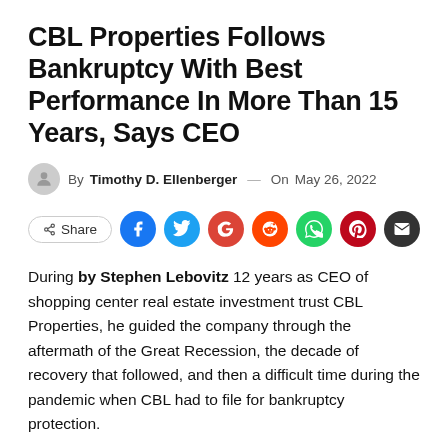CBL Properties Follows Bankruptcy With Best Performance In More Than 15 Years, Says CEO
By Timothy D. Ellenberger — On May 26, 2022
[Figure (other): Social share buttons row: Share, Facebook, Twitter, Google, Reddit, WhatsApp, Pinterest, Email]
During by Stephen Lebovitz 12 years as CEO of shopping center real estate investment trust CBL Properties, he guided the company through the aftermath of the Great Recession, the decade of recovery that followed, and then a difficult time during the pandemic when CBL had to file for bankruptcy protection.
That's why CBL's recent rebound has Lebovitz optimistic. The Based in Chattanooga, TN REITS his father, Charles B. Lebovitz, launched in 1978, posted strong earnings this month